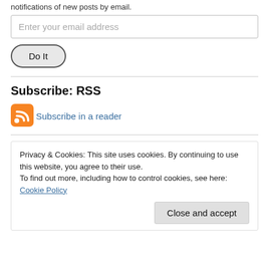notifications of new posts by email.
Enter your email address
Do It
Subscribe: RSS
[Figure (illustration): RSS feed orange icon with white signal waves]
Subscribe in a reader
Privacy & Cookies: This site uses cookies. By continuing to use this website, you agree to their use.
To find out more, including how to control cookies, see here: Cookie Policy
Close and accept